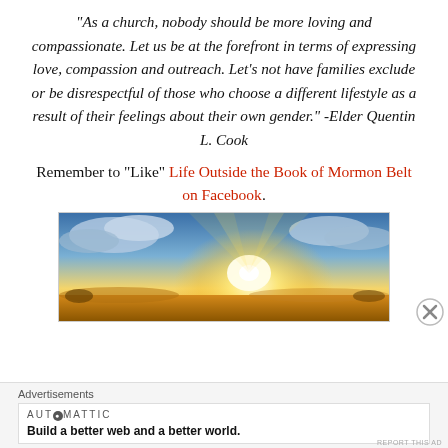“As a church, nobody should be more loving and compassionate. Let us be at the forefront in terms of expressing love, compassion and outreach. Let’s not have families exclude or be disrespectful of those who choose a different lifestyle as a result of their feelings about their own gender.” -Elder Quentin L. Cook
Remember to “Like” Life Outside the Book of Mormon Belt on Facebook.
[Figure (photo): Dramatic sky photo with sunbeams breaking through clouds over a landscape, warm golden and blue tones]
Advertisements
AUTOMATTIC
Build a better web and a better world.